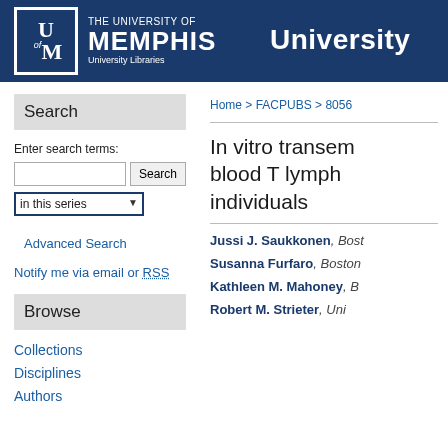THE UNIVERSITY OF MEMPHIS University Libraries | University
Search
Enter search terms:
in this series
Advanced Search
Notify me via email or RSS
Browse
Collections
Disciplines
Authors
Home > FACPUBS > 8056
In vitro transem... blood T lymph... individuals
Jussi J. Saukkonen, Bost...
Susanna Furfaro, Boston...
Kathleen M. Mahoney, B...
Robert M. Strieter, Uni...